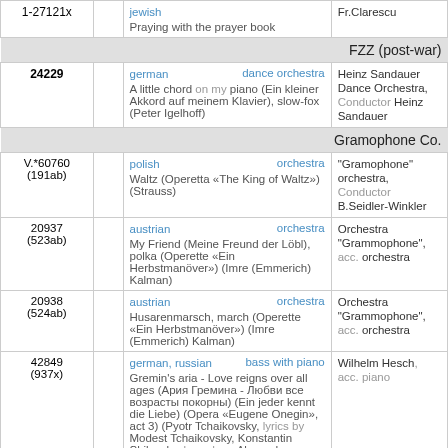| ID |  | Info | Artist |
| --- | --- | --- | --- |
| 1-27121x |  | jewish
Praying with the prayer book | Fr.Clarescu |
| FZZ (post-war) |  |  |  |
| 24229 |  | german / dance orchestra
A little chord on my piano (Ein kleiner Akkord auf meinem Klavier), slow-fox (Peter Igelhoff) | Heinz Sandauer Dance Orchestra, Conductor Heinz Sandauer |
| Gramophone Co. |  |  |  |
| V.*60760 (191ab) |  | polish / orchestra
Waltz (Operetta «The King of Waltz») (Strauss) | "Gramophone" orchestra, Conductor B.Seidler-Winkler |
| 20937 (523ab) |  | austrian / orchestra
My Friend (Meine Freund der Löbl), polka (Operette «Ein Herbstmanöver») (Imre (Emmerich) Kalman) | Orchestra "Grammophone", acc. orchestra |
| 20938 (524ab) |  | austrian / orchestra
Husarenmarsch, march (Operette «Ein Herbstmanöver») (Imre (Emmerich) Kalman) | Orchestra "Grammophone", acc. orchestra |
| 42849 (937x) |  | german, russian / bass with piano
Gremin's aria - Love reigns over all ages (Ария Гремина - Любви все возрасты покорны) (Ein jeder kennt die Liebe) (Opera «Eugene Onegin», act 3) (Pyotr Tchaikovsky, lyrics by Modest Tchaikovsky, Konstantin Shilovsky, based on: Alexander Pushkin: Novel in verse «Eugene... | Wilhelm Hesch, acc. piano |